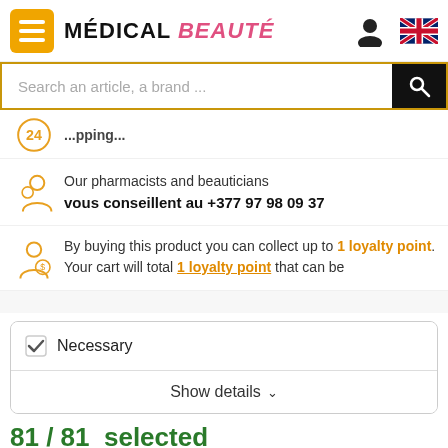MÉDICAL BEAUTÉ — navigation header with hamburger menu, user icon, and UK flag
Search an article, a brand ...
Our pharmacists and beauticians vous conseillent au +377 97 98 09 37
By buying this product you can collect up to 1 loyalty point. Your cart will total 1 loyalty point that can be
Necessary
Show details
81 / 81  selected
Accept all
Save